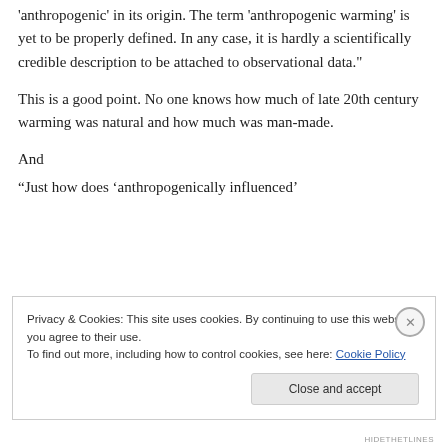'anthropogenic' in its origin. The term 'anthropogenic warming' is yet to be properly defined. In any case, it is hardly a scientifically credible description to be attached to observational data."
This is a good point. No one knows how much of late 20th century warming was natural and how much was man-made.
And
“Just how does ‘anthropogenically influenced’
Privacy & Cookies: This site uses cookies. By continuing to use this website, you agree to their use.
To find out more, including how to control cookies, see here: Cookie Policy
Close and accept
HIDETHETLINES